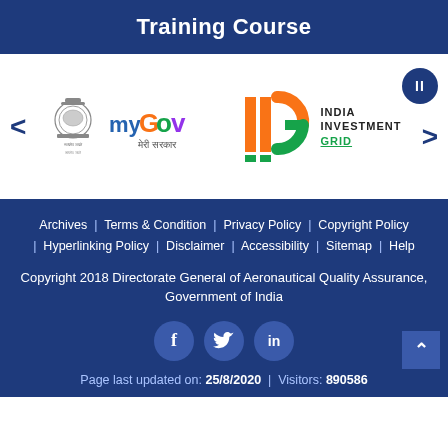Training Course
[Figure (logo): MyGov logo with Ashoka Emblem and text 'myGov meri sarkar', alongside India Investment Grid (IIG) logo with orange and green bars forming letters IIG and text INDIA INVESTMENT GRID]
Archives | Terms & Condition | Privacy Policy | Copyright Policy | Hyperlinking Policy | Disclaimer | Accessibility | Sitemap | Help
Copyright 2018 Directorate General of Aeronautical Quality Assurance, Government of India
[Figure (illustration): Social media icons: Facebook (f), Twitter (bird/t), LinkedIn (in) as circular buttons]
Page last updated on: 25/8/2020 | Visitors: 890586